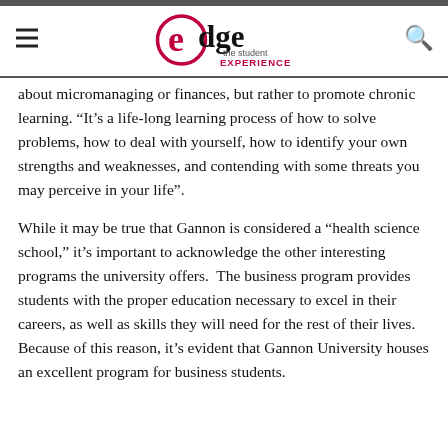edge the student EXPERIENCE
about micromanaging or finances, but rather to promote chronic learning. “It’s a life-long learning process of how to solve problems, how to deal with yourself, how to identify your own strengths and weaknesses, and contending with some threats you may perceive in your life”.
While it may be true that Gannon is considered a “health science school,” it’s important to acknowledge the other interesting programs the university offers.  The business program provides students with the proper education necessary to excel in their careers, as well as skills they will need for the rest of their lives. Because of this reason, it’s evident that Gannon University houses an excellent program for business students.